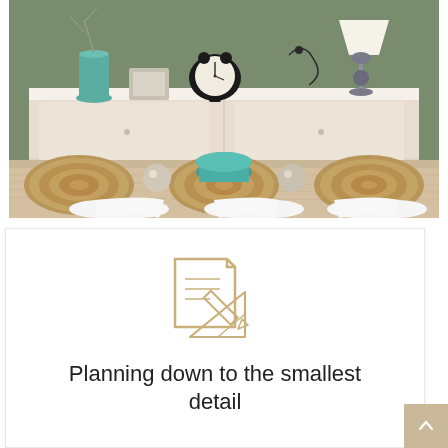[Figure (photo): Interior dining room photo showing a light wood dining table with round woven placemats, a teal ceramic vase centerpiece, silver decorative balls, and white modern chairs in the foreground. Behind the table is a white sideboard/buffet with decorative items on top including a black alarm clock, a teal vase with branches, a silver picture frame, and a lamp with a white shade. The wall is painted sage green.]
[Figure (illustration): Minimalist line-art icon in tan/gold color depicting a blueprint or floor plan document with a pencil and a ruler/triangle, representing architectural planning or design.]
Planning down to the smallest detail